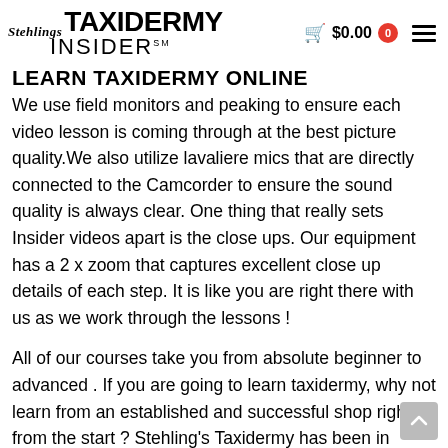Stehlings TAXIDERMY INSIDER℠ — $0.00 0
LEARN TAXIDERMY ONLINE
We use field monitors and peaking to ensure each video lesson is coming through at the best picture quality. We also utilize lavaliere mics that are directly connected to the Camcorder to ensure the sound quality is always clear. One thing that really sets Insider videos apart is the close ups. Our equipment has a 2 x zoom that captures excellent close up details of each step. It is like you are right there with us as we work through the lessons !
All of our courses take you from absolute beginner to advanced . If you are going to learn taxidermy, why not learn from an established and successful shop right from the start ? Stehling's Taxidermy has been in continuous, full time operation for over 40 years. Our second generation studio has produced over 20,000 custom mounts for sportsmen